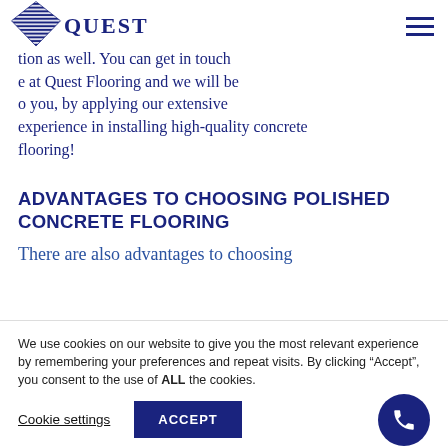Quest Flooring logo and navigation
tion as well. You can get in touch e at Quest Flooring and we will be o you, by applying our extensive experience in installing high-quality concrete flooring!
ADVANTAGES TO CHOOSING POLISHED CONCRETE FLOORING
There are also advantages to choosing
We use cookies on our website to give you the most relevant experience by remembering your preferences and repeat visits. By clicking “Accept”, you consent to the use of ALL the cookies.
Cookie settings | ACCEPT